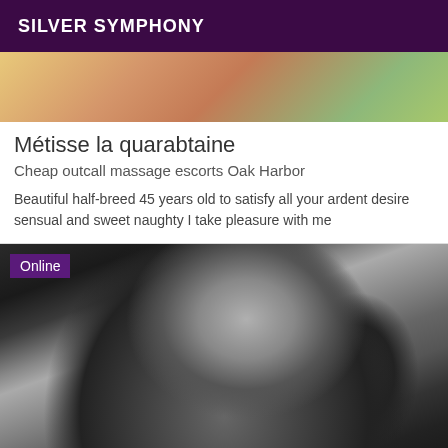SILVER SYMPHONY
[Figure (photo): Partial image at top of listing card showing colorful tattoo artwork]
Métisse la quarabtaine
Cheap outcall massage escorts Oak Harbor
Beautiful half-breed 45 years old to satisfy all your ardent desire sensual and sweet naughty I take pleasure with me
[Figure (photo): Grayscale photo of a woman in black lingerie taking a mirror selfie, with an 'Online' badge overlay]